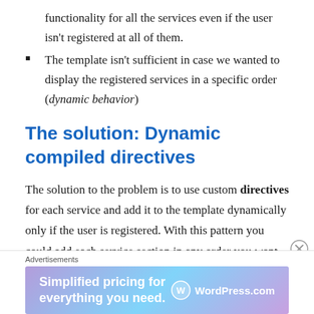functionality for all the services even if the user isn't registered at all of them.
The template isn't sufficient in case we wanted to display the registered services in a specific order (dynamic behavior)
The solution: Dynamic compiled directives
The solution to the problem is to use custom directives for each service and add it to the template dynamically only if the user is registered. With this pattern you could add each service section in any order you want, assuming this info comes from an api. More over each directive would
[Figure (other): Advertisement banner for WordPress.com: 'Simplified pricing for everything you need.' with WordPress.com logo]